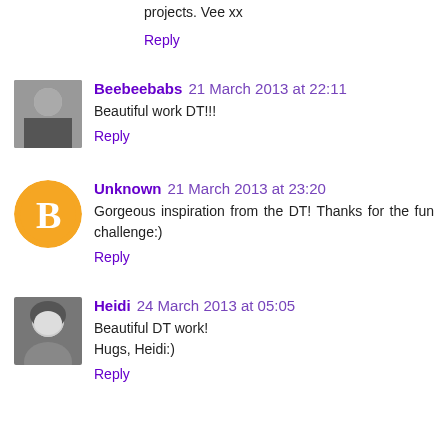projects. Vee xx
Reply
Beebeebabs 21 March 2013 at 22:11
Beautiful work DT!!!
Reply
Unknown 21 March 2013 at 23:20
Gorgeous inspiration from the DT! Thanks for the fun challenge:)
Reply
Heidi 24 March 2013 at 05:05
Beautiful DT work!
Hugs, Heidi:)
Reply